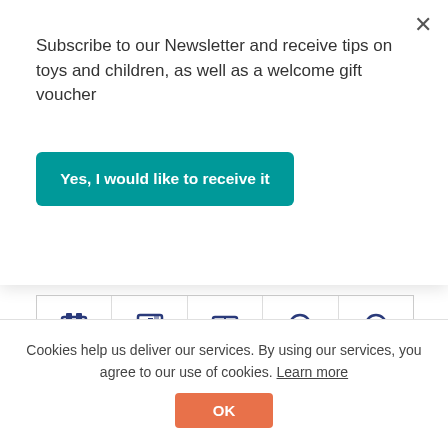Subscribe to our Newsletter and receive tips on toys and children, as well as a welcome gift voucher
Yes, I would like to receive it
[Figure (screenshot): Partial view of a product page showing navigation icon row and bottom of a ballerina cuddle hare plush toy]
Ballerina cuddle hare
€67.90
♥
ADD TO CART
Cookies help us deliver our services. By using our services, you agree to our use of cookies. Learn more
OK